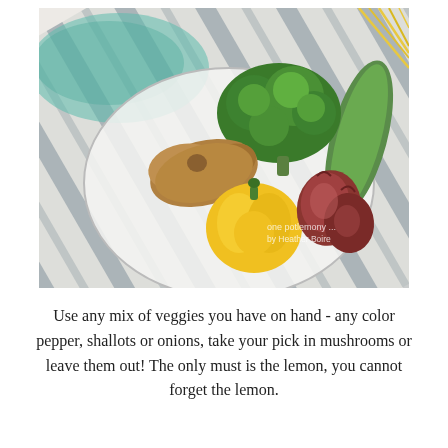[Figure (photo): Overhead photo of a bowl/plate with assorted vegetables: broccoli, ginger root, yellow bell pepper, shallots/garlic cloves, zucchini, and spaghetti/pasta in the corner, arranged on a blue and white striped cloth napkin/towel on a white marble surface. Watermark text: 'one potlemony ... by Heather Boire' and 'All rights reserved'.]
Use any mix of veggies you have on hand - any color pepper, shallots or onions, take your pick in mushrooms or leave them out! The only must is the lemon, you cannot forget the lemon.